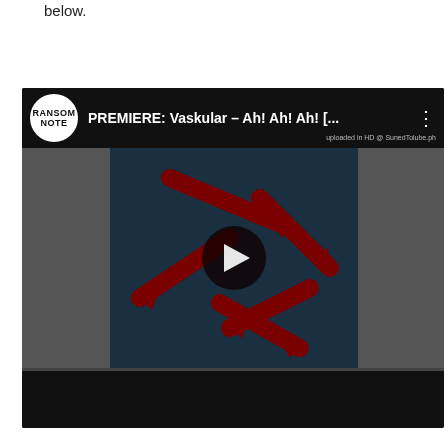below.
[Figure (screenshot): Embedded YouTube video player screenshot showing a Ransom Note channel video titled 'PREMIERE: Vaskular - Ah! Ah! Ah! [...]'. The thumbnail displays dark teal background with dark red diagonal arrows pointing in various directions and a circular play button in the center. The video player has a black top bar with the Ransom Note logo (white circle with black text), the video title, and three-dot menu icon. Below the thumbnail is a dark bottom bar.]